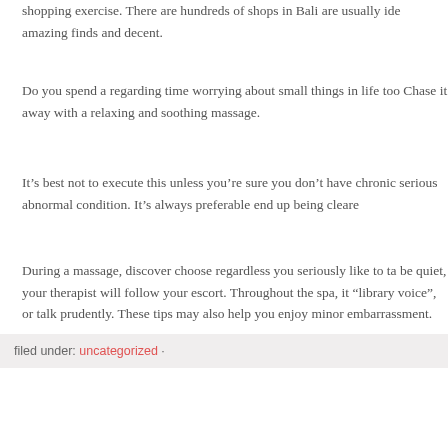shopping exercise. There are hundreds of shops in Bali are usually ide amazing finds and decent.
Do you spend a regarding time worrying about small things in life too Chase it away with a relaxing and soothing massage.
It’s best not to execute this unless you’re sure you don’t have chronic serious abnormal condition. It’s always preferable end up being cleare
During a massage, discover choose regardless you seriously like to ta be quiet, your therapist will follow your escort. Throughout the spa, it “library voice”, or talk prudently. These tips may also help you enjoy minor embarrassment.
filed under: uncategorized ·
How Generate A Team In Bu Sports